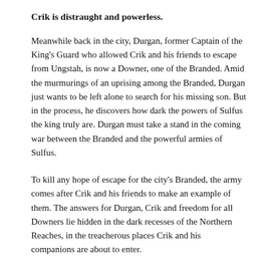Crik is distraught and powerless.
Meanwhile back in the city, Durgan, former Captain of the King's Guard who allowed Crik and his friends to escape from Ungstah, is now a Downer, one of the Branded. Amid the murmurings of an uprising among the Branded, Durgan just wants to be left alone to search for his missing son. But in the process, he discovers how dark the powers of Sulfus the king truly are. Durgan must take a stand in the coming war between the Branded and the powerful armies of Sulfus.
To kill any hope of escape for the city's Branded, the army comes after Crik and his friends to make an example of them. The answers for Durgan, Crik and freedom for all Downers lie hidden in the dark recesses of the Northern Reaches, in the treacherous places Crik and his companions are about to enter.